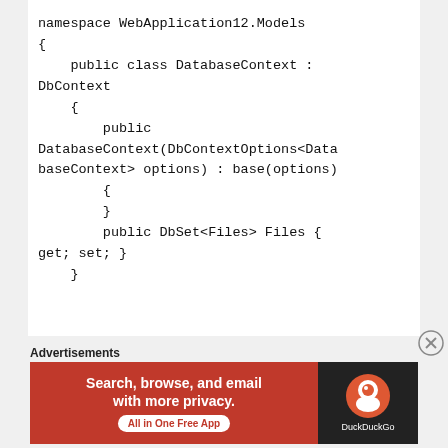[Figure (screenshot): Code snippet showing C# namespace and DatabaseContext class definition with DbContext inheritance, constructor, and DbSet<Files> property.]
Advertisements
[Figure (illustration): DuckDuckGo advertisement banner: 'Search, browse, and email with more privacy. All in One Free App' with DuckDuckGo logo on dark background.]